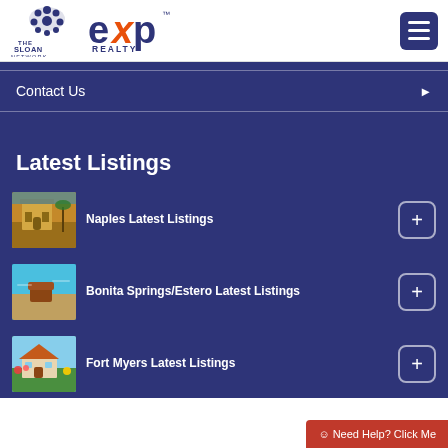[Figure (logo): The Sloan Network and eXp Realty logos in the header]
Contact Us
Latest Listings
Naples Latest Listings
Bonita Springs/Estero Latest Listings
Fort Myers Latest Listings
☺ Need Help? Click Me